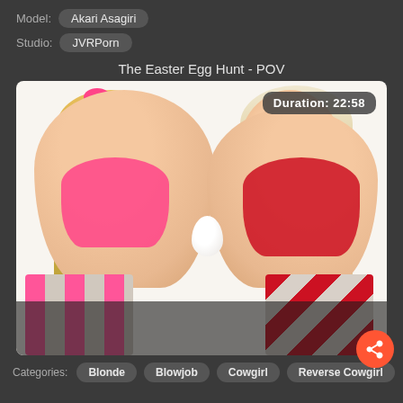Model: Akari Asagiri
Studio: JVRPorn
The Easter Egg Hunt - POV
[Figure (photo): Two blonde women in pink and red outfits holding a white egg, with a 'Duration: 22:58' badge overlay in the top right corner]
Categories: Blonde  Blowjob  Cowgirl  Reverse Cowgirl